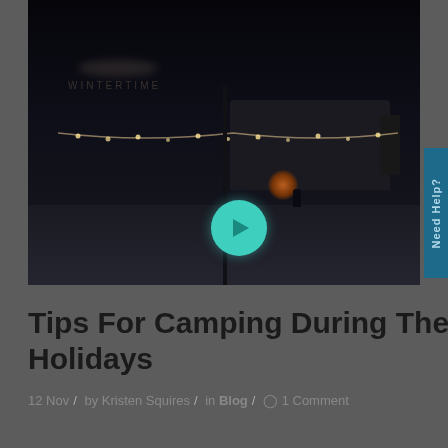[Figure (photo): Night scene of an RV campsite with string lights, a campfire glow, and a dark background. A teal play button overlay is visible in the center of the image.]
Tips For Camping During The Holidays
12 Nov / by Kristen Squires / in Blog / 1 Comment